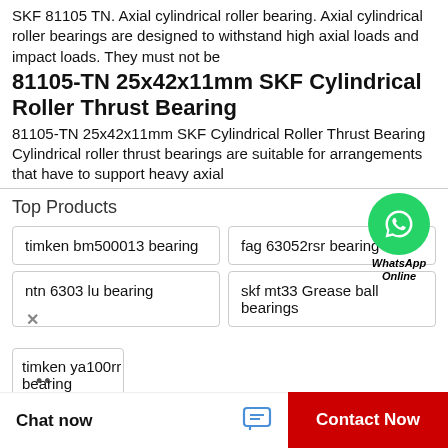SKF 81105 TN. Axial cylindrical roller bearing. Axial cylindrical roller bearings are designed to withstand high axial loads and impact loads. They must not be
81105-TN 25x42x11mm SKF Cylindrical Roller Thrust Bearing
81105-TN 25x42x11mm SKF Cylindrical Roller Thrust Bearing Cylindrical roller thrust bearings are suitable for arrangements that have to support heavy axial
Top Products
[Figure (logo): WhatsApp green circle logo with phone icon, labeled WhatsApp Online]
timken bm500013 bearing
fag 63052rsr bearing
ntn 6303 lu bearing
skf mt33 Grease ball bearings
timken ya100rr bearing
Chat now
Contact Now